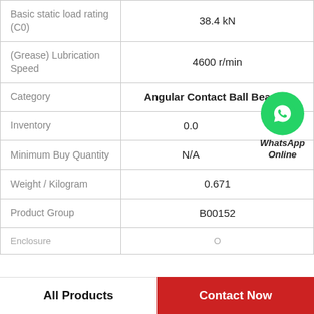| Property | Value |
| --- | --- |
| Basic static load rating (C0) | 38.4 kN |
| (Grease) Lubrication Speed | 4600 r/min |
| Category | Angular Contact Ball Bearing |
| Inventory | 0.0 |
| Minimum Buy Quantity | N/A |
| Weight / Kilogram | 0.671 |
| Product Group | B00152 |
| Enclosure | Open |
[Figure (logo): WhatsApp Online green circle icon with phone handset, with text 'WhatsApp Online' below]
All Products
Contact Now